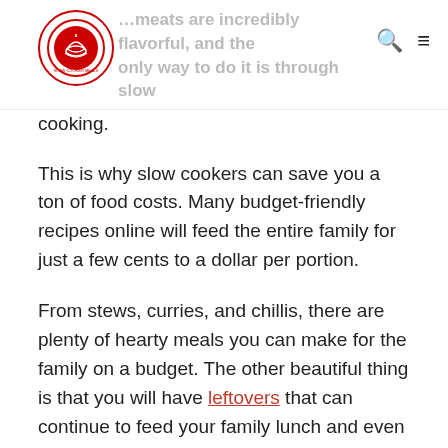...meats are incredibly flavorful, and the only way to do it is through slow cooking.
This is why slow cookers can save you a ton of food costs. Many budget-friendly recipes online will feed the entire family for just a few cents to a dollar per portion.
From stews, curries, and chillis, there are plenty of hearty meals you can make for the family on a budget. The other beautiful thing is that you will have leftovers that can continue to feed your family lunch and even dinner for days.
Pretty much all dishes made with a slow cooker can